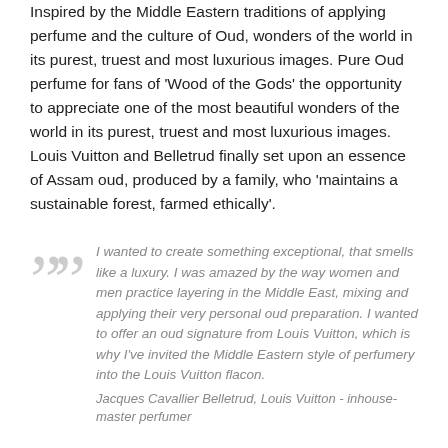Inspired by the Middle Eastern traditions of applying perfume and the culture of Oud, wonders of the world in its purest, truest and most luxurious images. Pure Oud perfume for fans of 'Wood of the Gods' the opportunity to appreciate one of the most beautiful wonders of the world in its purest, truest and most luxurious images. Louis Vuitton and Belletrud finally set upon an essence of Assam oud, produced by a family, who 'maintains a sustainable forest, farmed ethically'.
I wanted to create something exceptional, that smells like a luxury. I was amazed by the way women and men practice layering in the Middle East, mixing and applying their very personal oud preparation. I wanted to offer an oud signature from Louis Vuitton, which is why I've invited the Middle Eastern style of perfumery into the Louis Vuitton flacon. Jacques Cavallier Belletrud, Louis Vuitton - inhouse- master perfumer